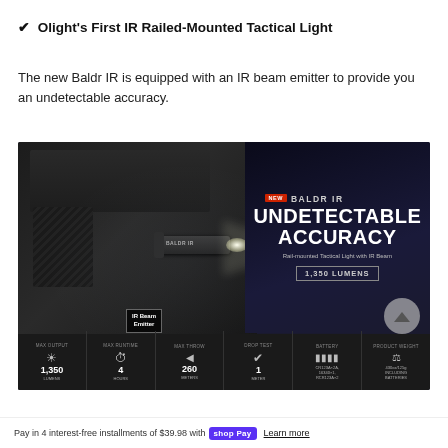✔ Olight's First IR Railed-Mounted Tactical Light
The new Baldr IR is equipped with an IR beam emitter to provide you an undetectable accuracy.
[Figure (photo): Product advertisement image for the Olight Baldr IR tactical light mounted on a handgun. The image shows the gun with light attached on the left, a bright white beam emitted, and an 'IR Beam Emitter' label. Right side shows large white text 'UNDETECTABLE ACCURACY' with 'BALDR IR' branding, 'Rail-mounted Tactical Light with IR Beam', '1,350 LUMENS' spec box. Bottom specs bar shows: Max Output 1,350 Lumens, Max Runtime 4 Hours, Max Throw 260 Meters, Drop Test 1 Meter, Battery, Product Weight.]
Pay in 4 interest-free installments of $39.98 with shop Pay Learn more